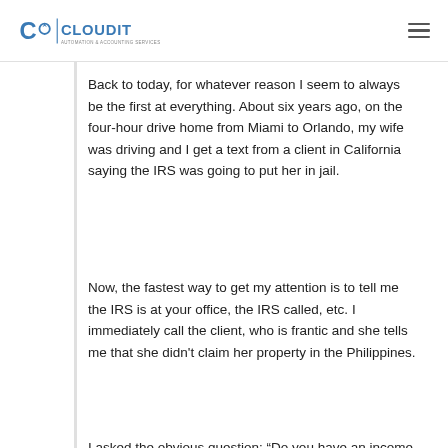CAS CLOUDIT AUTOMATION & ACCOUNTING SERVICES
Back to today, for whatever reason I seem to always be the first at everything. About six years ago, on the four-hour drive home from Miami to Orlando, my wife was driving and I get a text from a client in California saying the IRS was going to put her in jail.
Now, the fastest way to get my attention is to tell me the IRS is at your office, the IRS called, etc. I immediately call the client, who is frantic and she tells me that she didn't claim her property in the Philippines.
I asked the obvious question: “Do you have an income producing property in the Philippines?”. She said that her parents